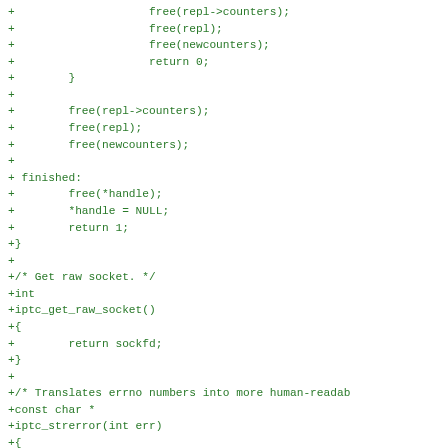[Figure (other): Diff/patch code snippet in green monospace font showing C code additions with + prefix, including free() calls, finished label, return statements, and function definitions for iptc_get_raw_socket() and iptc_strerror(int err)]